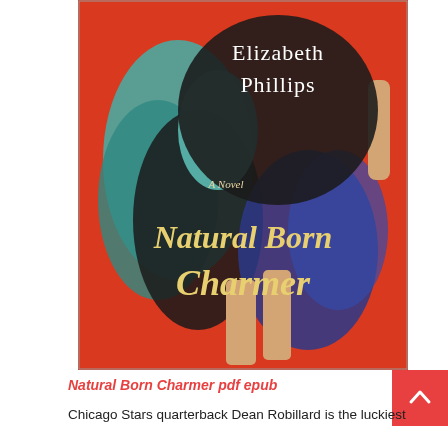[Figure (illustration): Book cover of 'Natural Born Charmer' by Elizabeth Phillips. Red background with a woman in a teal/blue dress and dark overlay. Large cream/gold script text reads 'Natural Born Charmer'. Subtitle 'A Novel' in smaller text. Author name 'Elizabeth Phillips' in white serif font at top.]
Natural Born Charmer pdf epub
Chicago Stars quarterback Dean Robillard is the luckiest